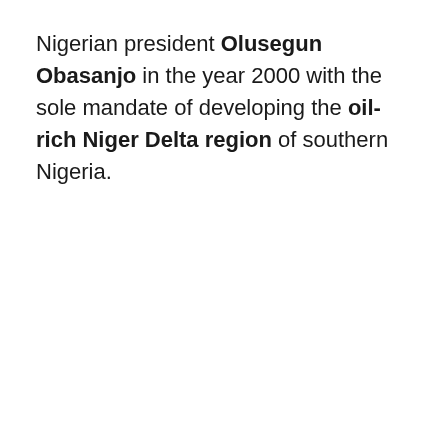Nigerian president Olusegun Obasanjo in the year 2000 with the sole mandate of developing the oil-rich Niger Delta region of southern Nigeria.